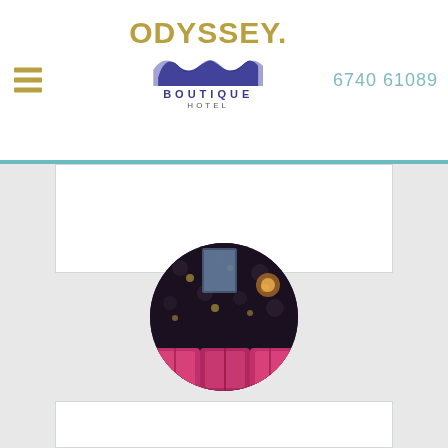[Figure (logo): Odyssey Boutique Hotel logo with wave design in navy blue and gold text]
6740 61089
[Figure (photo): Circular cropped interior photo of hotel room showing dark floral wallpaper, warm lamp light, and pink/magenta seating cushions]